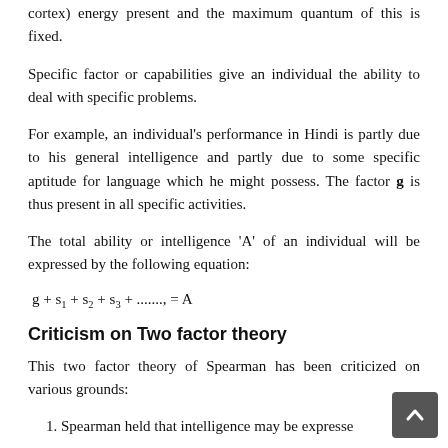cortex) energy present and the maximum quantum of this is fixed.
Specific factor or capabilities give an individual the ability to deal with specific problems.
For example, an individual's performance in Hindi is partly due to his general intelligence and partly due to some specific aptitude for language which he might possess. The factor g is thus present in all specific activities.
The total ability or intelligence ‘A’ of an individual will be expressed by the following equation:
Criticism on Two factor theory
This two factor theory of Spearman has been criticized on various grounds:
1. Spearman held that intelligence may be expressed